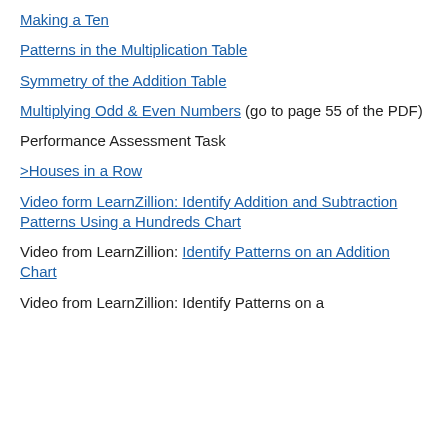Making a Ten
Patterns in the Multiplication Table
Symmetry of the Addition Table
Multiplying Odd & Even Numbers (go to page 55 of the PDF)
Performance Assessment Task
>Houses in a Row
Video form LearnZillion: Identify Addition and Subtraction Patterns Using a Hundreds Chart
Video from LearnZillion: Identify Patterns on an Addition Chart
Video from LearnZillion: Identify Patterns on a